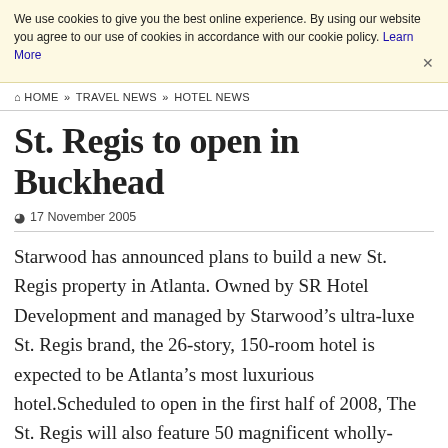We use cookies to give you the best online experience. By using our website you agree to our use of cookies in accordance with our cookie policy. Learn More
HOME » TRAVEL NEWS » HOTEL NEWS
St. Regis to open in Buckhead
17 November 2005
Starwood has announced plans to build a new St. Regis property in Atlanta. Owned by SR Hotel Development and managed by Starwood's ultra-luxe St. Regis brand, the 26-story, 150-room hotel is expected to be Atlanta's most luxurious hotel.Scheduled to open in the first half of 2008, The St. Regis will also feature 50 magnificent wholly-owned St. Regis Residences, destined to be the finest dwellings in the area. Many of Atlanta's most prominent residents have already reserved more than half